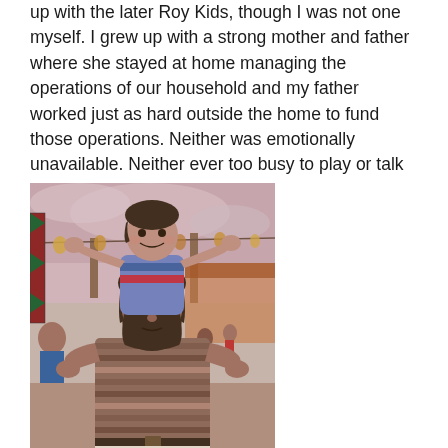up with the later Roy Kids, though I was not one myself. I grew up with a strong mother and father where she stayed at home managing the operations of our household and my father worked just as hard outside the home to fund those operations. Neither was emotionally unavailable. Neither ever too busy to play or talk or anything else. I had it good.
[Figure (photo): Vintage photograph of a young child sitting on the shoulders of a bearded man at what appears to be a fair or amusement park. The child is smiling and reaching forward. The man has dark hair and a beard and is wearing a striped shirt. The background shows fairground stalls and other people.]